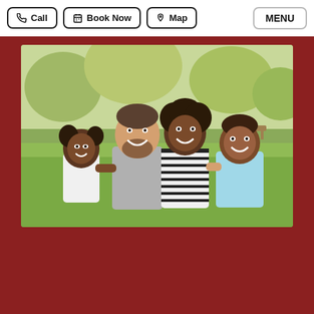Call | Book Now | Map | MENU
[Figure (photo): A smiling family of four (two adults and two children) sitting together outdoors in a park with green trees and grass in the background. A man in a grey t-shirt and a woman in a striped shirt sit in the center, with a young girl in white on the left and a boy in a light blue shirt on the right.]